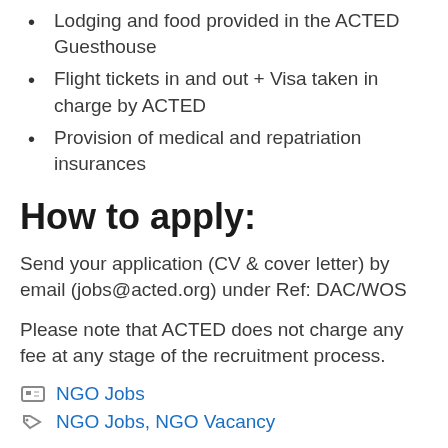Lodging and food provided in the ACTED Guesthouse
Flight tickets in and out + Visa taken in charge by ACTED
Provision of medical and repatriation insurances
How to apply:
Send your application (CV & cover letter) by email (jobs@acted.org) under Ref: DAC/WOS
Please note that ACTED does not charge any fee at any stage of the recruitment process.
NGO Jobs
NGO Jobs, NGO Vacancy